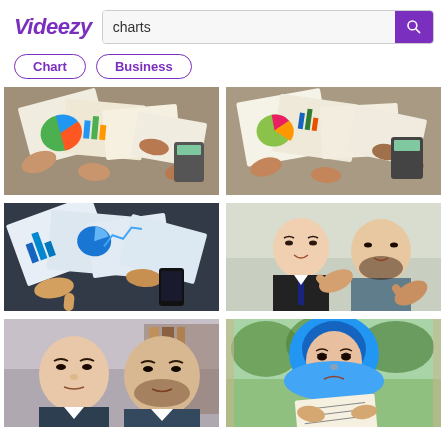Videezy
charts
Chart
Business
[Figure (photo): Overhead view of people reviewing business charts and documents on a table]
[Figure (photo): Overhead view of people reviewing business charts and documents on a table, similar angle]
[Figure (photo): Overhead view of charts, graphs and business documents spread on a dark surface]
[Figure (photo): Two men in business suits pointing at the camera]
[Figure (photo): Two men in business attire looking serious]
[Figure (photo): Woman wearing blue hijab holding a document outdoors]